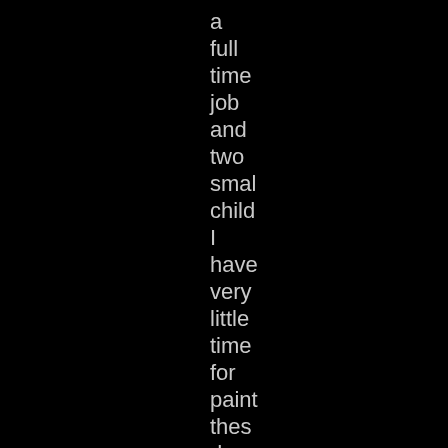a full time job and two small children I have very little time for painting these days so I've